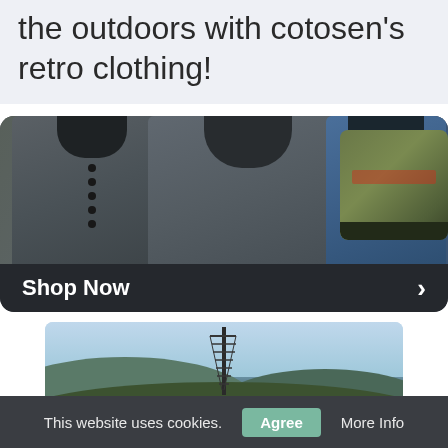the outdoors with cotosen's retro clothing!
[Figure (screenshot): Product carousel showing three hooded/sleeveless shirts (gray, dark gray, blue) and a camouflage shoe, with a dark 'Shop Now' bar and arrow at the bottom]
[Figure (photo): Landscape photo showing mountains, trees, sky, and a tall antenna/tower in the center]
This website uses cookies.
Agree
More Info